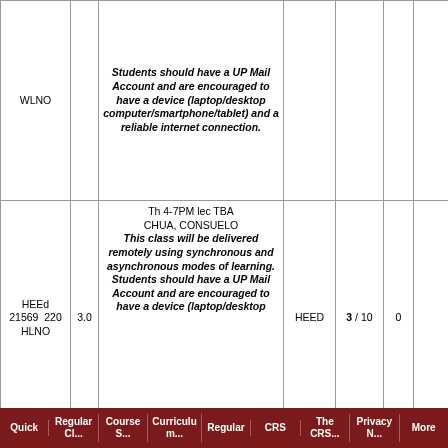| Course/Section | Units | Schedule/Remarks | Dept | Enrl | WL | Action |
| --- | --- | --- | --- | --- | --- | --- |
| WLNO |  | Students should have a UP Mail Account and are encouraged to have a device (laptop/desktop computer/smartphone/tablet) and a reliable internet connection. |  |  |  |  |
| 21569 HEEd 220 HLNO | 3.0 | Th 4-7PM lec TBA CHUA, CONSUELO This class will be delivered remotely using synchronous and asynchronous modes of learning. Students should have a UP Mail Account and are encouraged to have a device (laptop/desktop computer/smartphone/tablet) | HEED | 3 / 10 | 0 |  |
Quick | Regular | Course | Curriculu | Regular | CRS | The CRS | Privacy | More